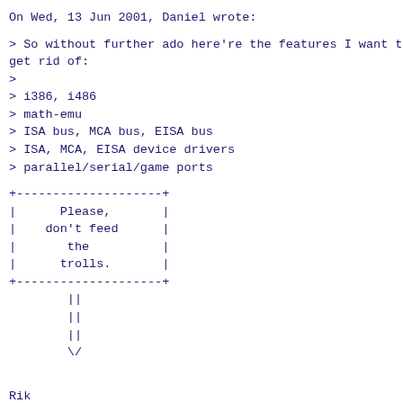On Wed, 13 Jun 2001, Daniel wrote:
> So without further ado here're the features I want to get rid of:
>
> i386, i486
> math-emu
> ISA bus, MCA bus, EISA bus
> ISA, MCA, EISA device drivers
> parallel/serial/game ports
[Figure (other): ASCII art box with text 'Please, don't feed the trolls.' followed by arrow pointing down made of || and \/]
Rik
--
Linux MM bugzilla: http://linux-mm.org/bugzilla.shtml

Virtual memory is like a game you can't win;
However, without VM there's truly nothing to lose...